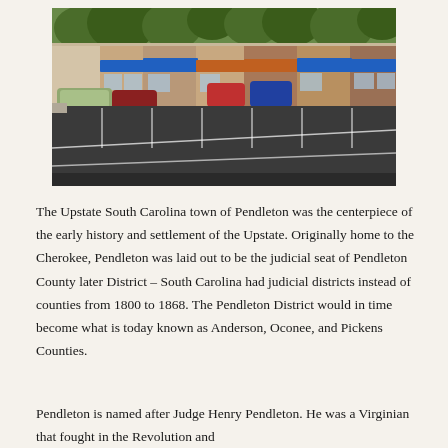[Figure (photo): Street-level photo of downtown Pendleton, South Carolina showing a parking lot in the foreground and storefronts with blue and orange awnings along the street in the background. Several cars are parked and trees are visible.]
The Upstate South Carolina town of Pendleton was the centerpiece of the early history and settlement of the Upstate.  Originally home to the Cherokee, Pendleton was laid out to be the judicial seat of Pendleton County later District – South Carolina had judicial districts instead of counties from 1800 to 1868.  The Pendleton District would in time become what is today known as Anderson, Oconee, and Pickens Counties.
Pendleton is named after Judge Henry Pendleton.  He was a Virginian that fought in the Revolution and